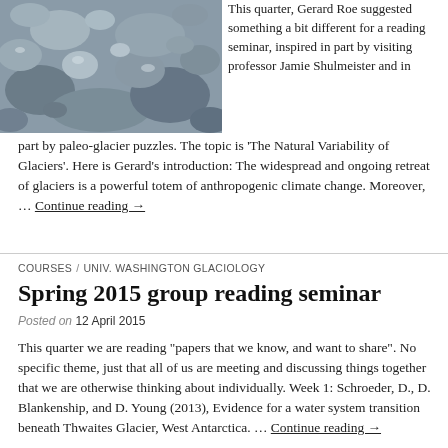[Figure (photo): Rocky glacier moraine landscape with stones and boulders in grey tones]
This quarter, Gerard Roe suggested something a bit different for a reading seminar, inspired in part by visiting professor Jamie Shulmeister and in part by paleo-glacier puzzles. The topic is ‘The Natural Variability of Glaciers’. Here is Gerard’s introduction: The widespread and ongoing retreat of glaciers is a powerful totem of anthropogenic climate change. Moreover, … Continue reading →
COURSES / UNIV. WASHINGTON GLACIOLOGY
Spring 2015 group reading seminar
Posted on 12 April 2015
This quarter we are reading “papers that we know, and want to share”. No specific theme, just that all of us are meeting and discussing things together that we are otherwise thinking about individually. Week 1: Schroeder, D., D. Blankenship, and D. Young (2013), Evidence for a water system transition beneath Thwaites Glacier, West Antarctica. … Continue reading →